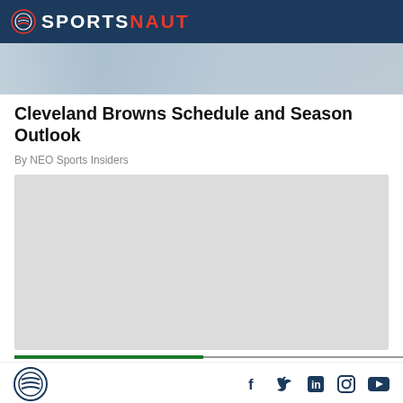SPORTSNAUT
[Figure (photo): Hero image strip showing sports/football imagery, partially visible, blurred background]
Cleveland Browns Schedule and Season Outlook
By NEO Sports Insiders
[Figure (other): Gray advertisement or content placeholder block]
Sportsnaut logo and social media icons: Facebook, Twitter, LinkedIn, Instagram, YouTube